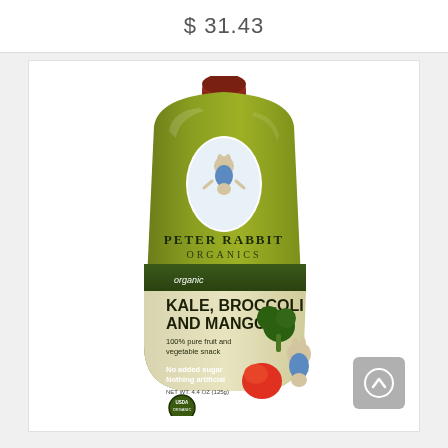$ 31.43
[Figure (photo): Peter Rabbit Organics baby food pouch — Kale, Broccoli and Mango flavor. Olive-green squeeze pouch with dark red cap. Features Peter Rabbit illustration, USDA Organic seal, and text reading: organic Kale, Broccoli and Mango, 100% pure fruit and vegetable snack, No added sugar, Nothing artificial. Net wt 4.4 oz (125g).]